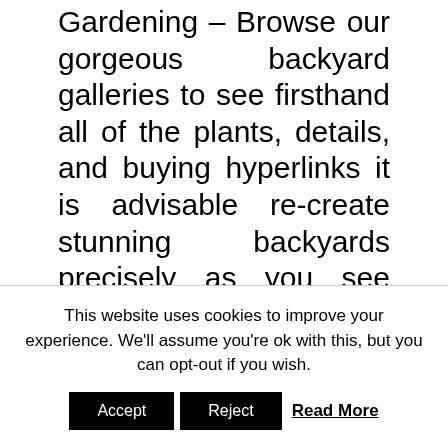Gardening – Browse our gorgeous backyard galleries to see firsthand all of the plants, details, and buying hyperlinks it is advisable re-create stunning backyards precisely as you see them. Thanks so much to the workforce at Better Homes and Gardens for having us and to photographer David Tsay , stylist Scott Horne , and hair and make-up artist Danielle Walch on your wonderful expertise! See that teal cloth storage dice , I have huge plans for these in my new workplace to cover the muddle and make it stunning. For instance: the
This website uses cookies to improve your experience. We'll assume you're ok with this, but you can opt-out if you wish.
Accept   Reject   Read More